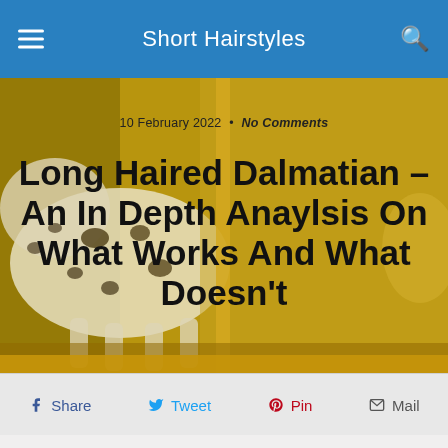Short Hairstyles
[Figure (photo): Hero banner image showing a Dalmatian dog with white coat and black spots on a golden/yellow background with a vertical gold stripe]
10 February 2022 • No Comments
Long Haired Dalmatian – An In Depth Anaylsis On What Works And What Doesn't
f Share  Tweet  Pin  Mail